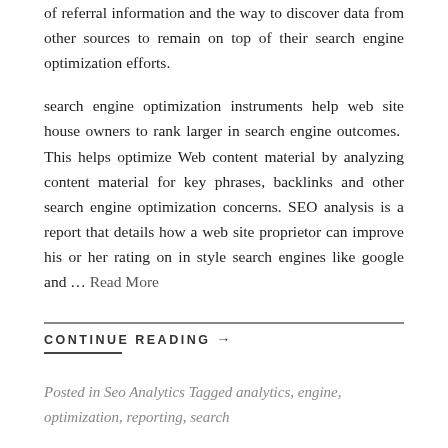of referral information and the way to discover data from other sources to remain on top of their search engine optimization efforts.
search engine optimization instruments help web site house owners to rank larger in search engine outcomes. This helps optimize Web content material by analyzing content material for key phrases, backlinks and other search engine optimization concerns. SEO analysis is a report that details how a web site proprietor can improve his or her rating on in style search engines like google and … Read More
CONTINUE READING →
Posted in Seo Analytics Tagged analytics, engine, optimization, reporting, search